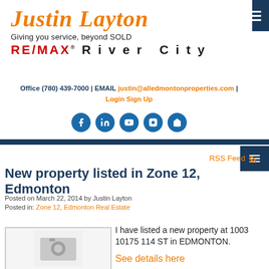Justin Layton
Giving you service, beyond SOLD
RE/MAX River City
Office (780) 439-7000 | EMAIL justin@alledmontonproperties.com | Login Sign Up
[Figure (other): Social media icons: Facebook, LinkedIn, YouTube, Instagram, Home]
New property listed in Zone 12, Edmonton
Posted on March 22, 2014 by Justin Layton
Posted in: Zone 12, Edmonton Real Estate
[Figure (photo): Camera placeholder image]
I have listed a new property at 1003 10175 114 ST in EDMONTON.

See details here